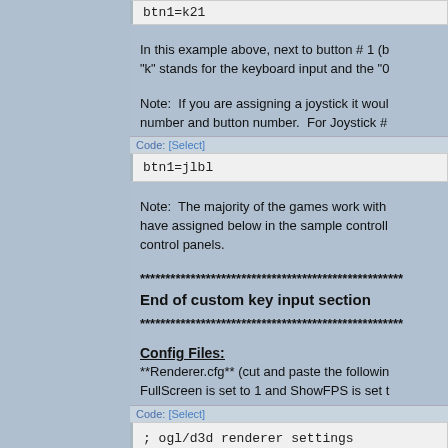btn1=k21
In this example above, next to button # 1 (b "k" stands for the keyboard input and the "0
Note:  If you are assigning a joystick it woul number and button number.  For Joystick #
Code: [Select]
btn1=jlbl
Note:  The majority of the games work with have assigned below in the sample controll control panels.
****************************************************
End of custom key input section
****************************************************
Config Files:
**Renderer.cfg** (cut and paste the followin FullScreen is set to 1 and ShowFPS is set t
Code: [Select]
; ogl/d3d renderer settings

XSize     = 640     ; Window/fu
YSize     = 480     ; Window/fu